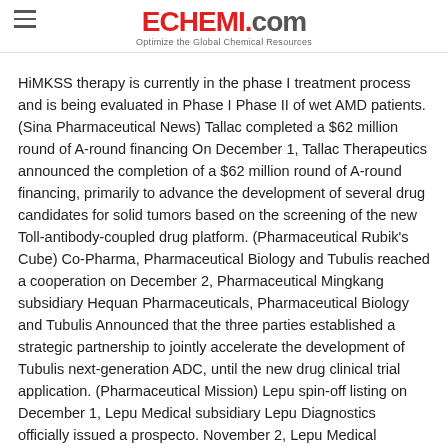ECHEMI.com — Optimize the Global Chemical Resources
HiMKSS therapy is currently in the phase I treatment process and is being evaluated in Phase I Phase II of wet AMD patients. (Sina Pharmaceutical News) Tallac completed a $62 million round of A-round financing On December 1, Tallac Therapeutics announced the completion of a $62 million round of A-round financing, primarily to advance the development of several drug candidates for solid tumors based on the screening of the new Toll-antibody-coupled drug platform. (Pharmaceutical Rubik's Cube) Co-Pharma, Pharmaceutical Biology and Tubulis reached a cooperation on December 2, Pharmaceutical Mingkang subsidiary Hequan Pharmaceuticals, Pharmaceutical Biology and Tubulis Announced that the three parties established a strategic partnership to jointly accelerate the development of Tubulis next-generation ADC, until the new drug clinical trial application. (Pharmaceutical Mission) Lepu spin-off listing on December 1, Lepu Medical subsidiary Lepu Diagnostics officially issued a prospecto. November 2, Lepu Medical announced that it intends to spin off its subsidiary Lepu Diagnostics to list on the Shanghai Stock Exchange. (Saibai Blue Equipment) National University Pharmacy's first beauty store opened in Shanghai recently, the first European/Japanese-Korean U.S. cosmetics new retail pharmacy created in Shanghai was launched in Pudong New Area Zhang Yang store.